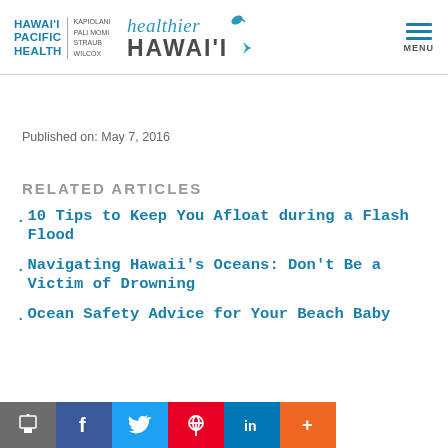HAWAI'I PACIFIC HEALTH | KAPIOLANI PALI MOMI STRAUB WILCOX — healthier HAWAI'I — MENU
Published on: May 7, 2016
RELATED ARTICLES
10 Tips to Keep You Afloat during a Flash Flood
Navigating Hawaii's Oceans: Don't Be a Victim of Drowning
Ocean Safety Advice for Your Beach Baby